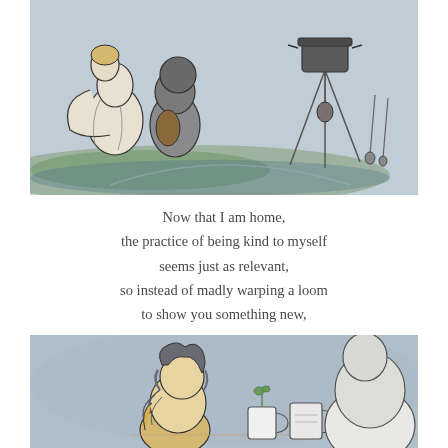[Figure (illustration): Watercolor illustration showing two figures (one in white, one in grey/brown) sitting or crouching outdoors on green-blue ground, with a camping stove or lantern on a tripod stand on the right side. Blue-grey background wash.]
Now that I am home,
the practice of being kind to myself
seems just as relevant,
so instead of madly warping a loom
to show you something new,
[Figure (illustration): Watercolor illustration showing a figure with curly grey/yellow hair seen from behind, sitting at a table with two mugs, facing another figure (shown as a large white/grey shape). Blue-grey background wash.]